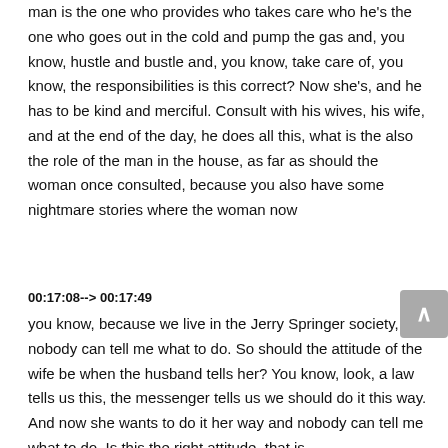man is the one who provides who takes care who he's the one who goes out in the cold and pump the gas and, you know, hustle and bustle and, you know, take care of, you know, the responsibilities is this correct? Now she's, and he has to be kind and merciful. Consult with his wives, his wife, and at the end of the day, he does all this, what is the also the role of the man in the house, as far as should the woman once consulted, because you also have some nightmare stories where the woman now
00:17:08--> 00:17:49
you know, because we live in the Jerry Springer society, nobody can tell me what to do. So should the attitude of the wife be when the husband tells her? You know, look, a law tells us this, the messenger tells us we should do it this way. And now she wants to do it her way and nobody can tell me what to do. Is this the right attitude, that is